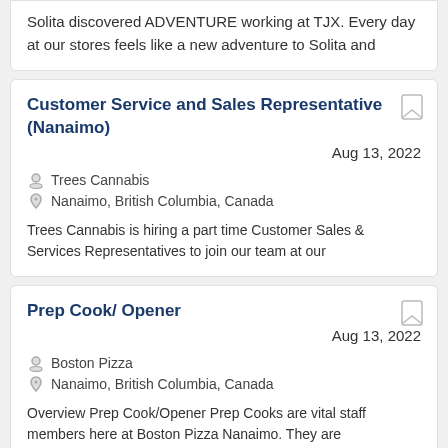Solita discovered ADVENTURE working at TJX. Every day at our stores feels like a new adventure to Solita and
Customer Service and Sales Representative (Nanaimo)
Aug 13, 2022
Trees Cannabis
Nanaimo, British Columbia, Canada
Trees Cannabis is hiring a part time Customer Sales & Services Representatives to join our team at our
Prep Cook/ Opener
Aug 13, 2022
Boston Pizza
Nanaimo, British Columbia, Canada
Overview Prep Cook/Opener Prep Cooks are vital staff members here at Boston Pizza Nanaimo. They are